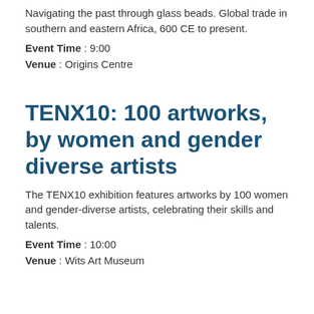Navigating the past through glass beads. Global trade in southern and eastern Africa, 600 CE to present.
Event Time : 9:00
Venue : Origins Centre
TENX10: 100 artworks, by women and gender diverse artists
The TENX10 exhibition features artworks by 100 women and gender-diverse artists, celebrating their skills and talents.
Event Time : 10:00
Venue : Wits Art Museum